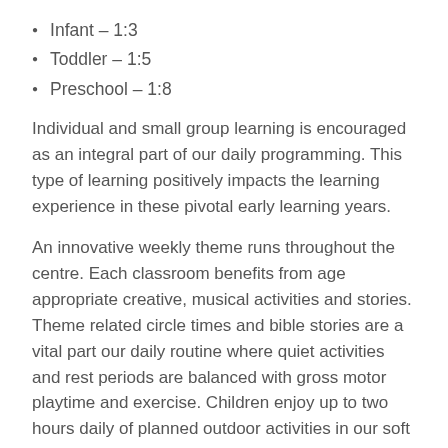Infant – 1:3
Toddler – 1:5
Preschool – 1:8
Individual and small group learning is encouraged as an integral part of our daily programming. This type of learning positively impacts the learning experience in these pivotal early learning years.
An innovative weekly theme runs throughout the centre. Each classroom benefits from age appropriate creative, musical activities and stories. Theme related circle times and bible stories are a vital part our daily routine where quiet activities and rest periods are balanced with gross motor playtime and exercise. Children enjoy up to two hours daily of planned outdoor activities in our soft surface playground complete with challenging fun structures and climbers that encourage creative play.